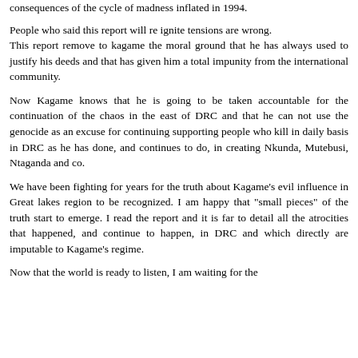consequences of the cycle of madness inflated in 1994.
People who said this report will re ignite tensions are wrong. This report remove to kagame the moral ground that he has always used to justify his deeds and that has given him a total impunity from the international community.
Now Kagame knows that he is going to be taken accountable for the continuation of the chaos in the east of DRC and that he can not use the genocide as an excuse for continuing supporting people who kill in daily basis in DRC as he has done, and continues to do, in creating Nkunda, Mutebusi, Ntaganda and co.
We have been fighting for years for the truth about Kagame's evil influence in Great lakes region to be recognized. I am happy that "small pieces" of the truth start to emerge. I read the report and it is far to detail all the atrocities that happened, and continue to happen, in DRC and which directly are imputable to Kagame's regime.
Now that the world is ready to listen, I am waiting for the